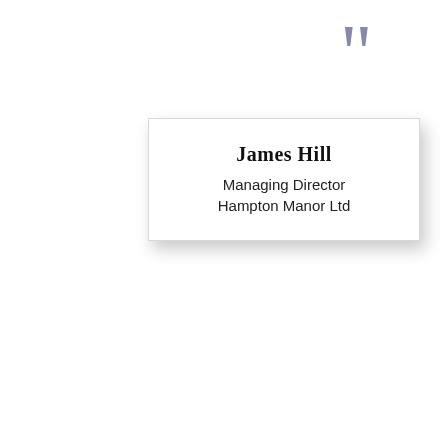[Figure (illustration): Large purple/grey quotation mark symbol in top-right corner]
James Hill
Managing Director
Hampton Manor Ltd
CONTACT US ✉ ...›
[Figure (illustration): Olive green decorative squares overlapping, with a circular upward arrow icon]
[Figure (illustration): Dark navy blue footer bar at bottom of page]
If you need some assistance or information...